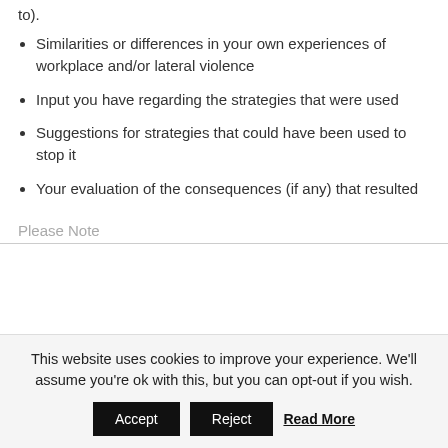to).
Similarities or differences in your own experiences of workplace and/or lateral violence
Input you have regarding the strategies that were used
Suggestions for strategies that could have been used to stop it
Your evaluation of the consequences (if any) that resulted
Please Note
This website uses cookies to improve your experience. We'll assume you're ok with this, but you can opt-out if you wish.